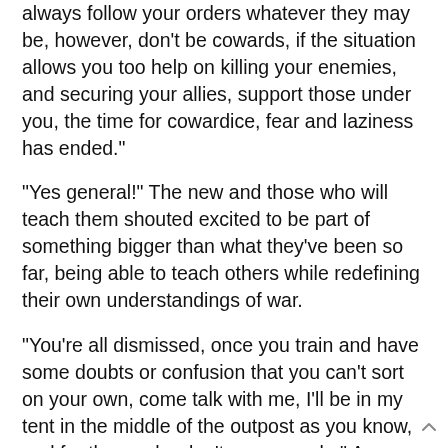always follow your orders whatever they may be, however, don't be cowards, if the situation allows you too help on killing your enemies, and securing your allies, support those under you, the time for cowardice, fear and laziness has ended."
"Yes general!" The new and those who will teach them shouted excited to be part of something bigger than what they've been so far, being able to teach others while redefining their own understandings of war.
"You're all dismissed, once you train and have some doubts or confusion that you can't sort on your own, come talk with me, I'll be in my tent in the middle of the outpost as you know, and for those who don't, now you do," Aurora goes to the stairs out of the little wooden platform they made for her, where she usually makes speeches, eventually reaching the tent and as soon as she enters it...